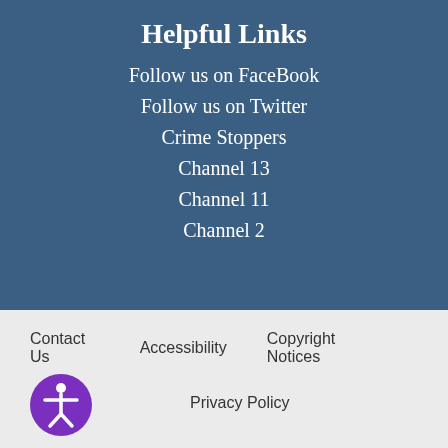Helpful Links
Follow us on FaceBook
Follow us on Twitter
Crime Stoppers
Channel 13
Channel 11
Channel 2
Contact Us  Accessibility  Copyright Notices  Privacy Policy